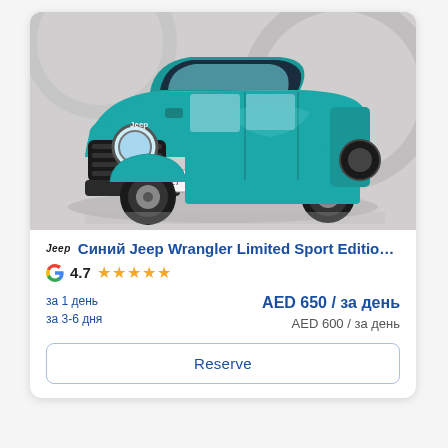[Figure (photo): Teal/blue Jeep Wrangler Limited Sport Edition 4-door SUV parked in a modern architectural setting with curved concrete walls and arches, shot from front-left angle.]
Синий Jeep Wrangler Limited Sport Edition, 2...
4.7 ★★★★★
| Duration | Price |
| --- | --- |
| за 1 день | AED 650 / за день |
| за 3-6 дня | AED 600 / за день |
Reserve